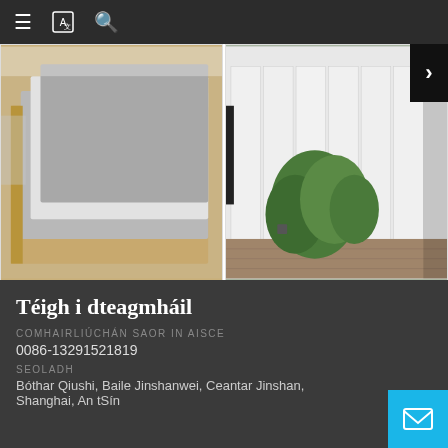Navigation bar with hamburger menu, translate icon, and search icon
[Figure (photo): Product card showing layered boards in beige/tan and grey colors - Bord Crochta Taobhlach Balla]
Bord Crochta Taobhlach Balla
[Figure (photo): Product card showing a plastic fence with garden plants - Gairdín chléithe fál plaisteach]
Gairdín chléithe fál plaisteach
Téigh i dteagmháil
COMHAIRLIÚCHÁN SAOR IN AISCE
0086-13291521819
SEOLADH
Bóthar Qiushi, Baile Jinshanwei, Ceantar Jinshan, Shanghai, An tSín